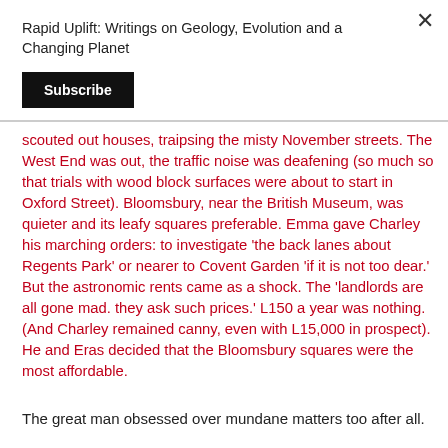Rapid Uplift: Writings on Geology, Evolution and a Changing Planet
scouted out houses, traipsing the misty November streets. The West End was out, the traffic noise was deafening (so much so that trials with wood block surfaces were about to start in Oxford Street). Bloomsbury, near the British Museum, was quieter and its leafy squares preferable. Emma gave Charley his marching orders: to investigate 'the back lanes about Regents Park' or nearer to Covent Garden 'if it is not too dear.'  But the astronomic rents came as a shock. The 'landlords are all gone mad. they ask such prices.' L150 a year was nothing. (And Charley remained canny, even with L15,000 in prospect). He and Eras decided that the Bloomsbury squares were the most affordable.
The great man obsessed over mundane matters too after all.